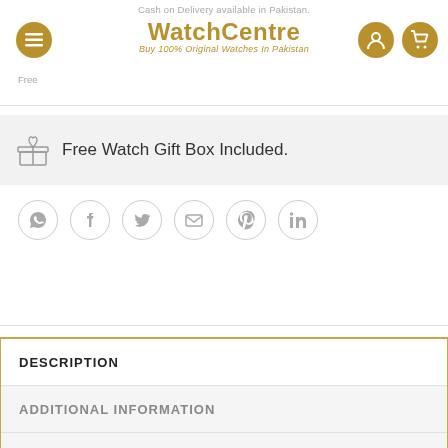WatchCentre – Buy 100% Original Watches In Pakistan
Free Watch Gift Box Included.
[Figure (infographic): Row of social media share icons: WhatsApp, Facebook, Twitter, Email, Pinterest, LinkedIn — each in a light gray circle outline]
DESCRIPTION
ADDITIONAL INFORMATION
REVIEWS (0)
WatchCentre.PK offers original & best quality Casio